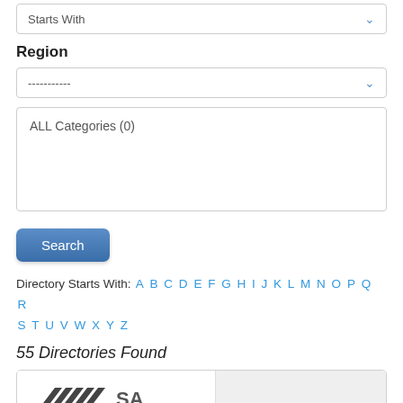Starts With (dropdown)
Region
----------- (dropdown)
ALL Categories (0)
Search (button)
Directory Starts With: A B C D E F G H I J K L M N O P Q R S T U V W X Y Z
55 Directories Found
[Figure (logo): SA Power Networks logo — diagonal parallel lines with 'SA Power' text]